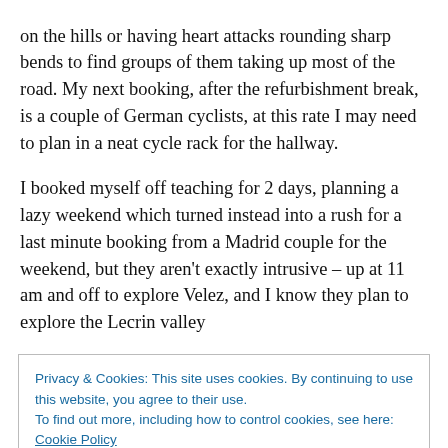on the hills or having heart attacks rounding sharp bends to find groups of them taking up most of the road. My next booking, after the refurbishment break, is a couple of German cyclists, at this rate I may need to plan in a neat cycle rack for the hallway.
I booked myself off teaching for 2 days, planning a lazy weekend which turned instead into a rush for a last minute booking from a Madrid couple for the weekend, but they aren't exactly intrusive – up at 11 am and off to explore Velez, and I know they plan to explore the Lecrin valley
Privacy & Cookies: This site uses cookies. By continuing to use this website, you agree to their use.
To find out more, including how to control cookies, see here: Cookie Policy
spellcheck was a curse, trying firmly to change every word